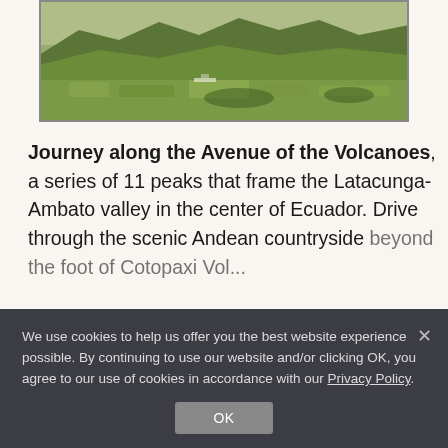[Figure (photo): Aerial landscape photo of the Latacunga-Ambato valley in Ecuador with green mountain ridges and farmland]
Journey along the Avenue of the Volcanoes, a series of 11 peaks that frame the Latacunga-Ambato valley in the center of Ecuador. Drive through the scenic Andean countryside [beyond the foot of Cotopaxi Vol...]
We use cookies to help us offer you the best website experience possible. By continuing to use our website and/or clicking OK, you agree to our use of cookies in accordance with our Privacy Policy.
OK